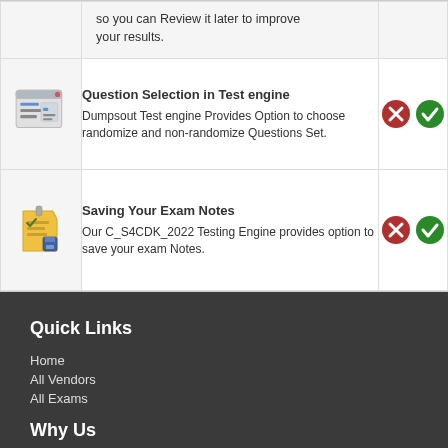so you can Review it later to improve your results.
| Icon | Feature | Badges |
| --- | --- | --- |
| [window icon] | Question Selection in Test engine – Dumpsout Test engine Provides Option to choose randomize and non-randomize Questions Set. | [X][✓] |
| [notes icon] | Saving Your Exam Notes – Our C_S4CDK_2022 Testing Engine provides option to save your exam Notes. | [X][✓] |
Quick Links
Home
All Vendors
All Exams
Why Us